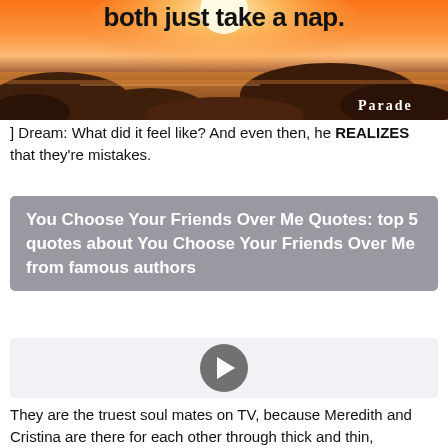[Figure (photo): Rocky seashore at sunset/sunrise with golden-orange light, rocks in shallow water, Parade watermark in bottom-right]
] Dream: What did it feel like? And even then, he REALIZES that they're mistakes.
You Choose Your Friends Over Me Quotes: top 5 quotes about You Choose Your Friends Over Me from famous authors
[Figure (other): Video player thumbnail with gray background and circular play button]
They are the truest soul mates on TV, because Meredith and Cristina are there for each other through thick and thin,